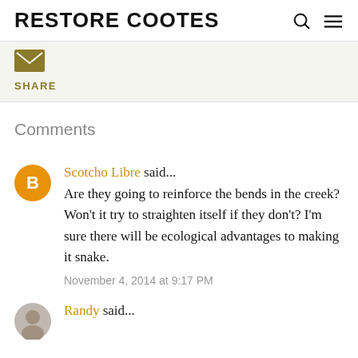RESTORE COOTES
[Figure (other): Email/envelope icon (gold/olive colored)]
SHARE
Comments
[Figure (other): Blogger user avatar - orange circle with white B icon]
Scotcho Libre said...
Are they going to reinforce the bends in the creek? Won't it try to straighten itself if they don't? I'm sure there will be ecological advantages to making it snake.
November 4, 2014 at 9:17 PM
[Figure (photo): Profile photo of Randy - circular avatar showing person's face]
Randy said...